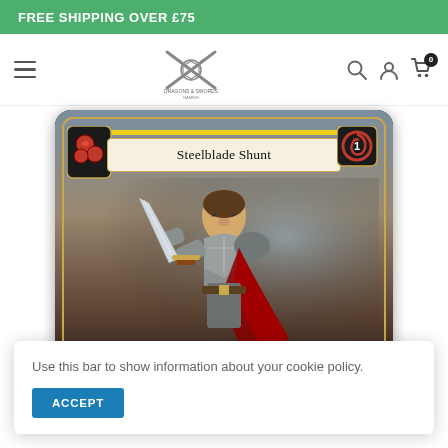FREE SHIPPING OVER £75
[Figure (logo): Dragons and Swords Gaming logo with crossed swords and dice]
[Figure (illustration): Trading card: Steelblade Shunt - shows armored warrior with sword, fantasy card game art]
Use this bar to show information about your cookie policy.
ACCEPT